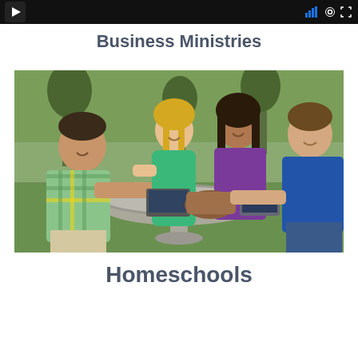[Figure (screenshot): Video player thumbnail with dark background, play button on left, settings and fullscreen icons on right]
Business Ministries
[Figure (photo): Four young adults sitting around a round stone outdoor table, smiling and socializing with laptops and bags on the table, green park in background]
Homeschools